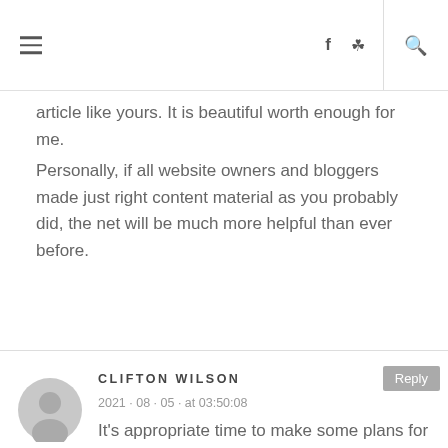Navigation header with hamburger menu, Facebook icon, Instagram icon, and search icon
article like yours. It is beautiful worth enough for me.
Personally, if all website owners and bloggers made just right content material as you probably did, the net will be much more helpful than ever before.
CLIFTON WILSON
2021 · 08 · 05 · at 03:50:08
It's appropriate time to make some plans for the longer term and it's time to be